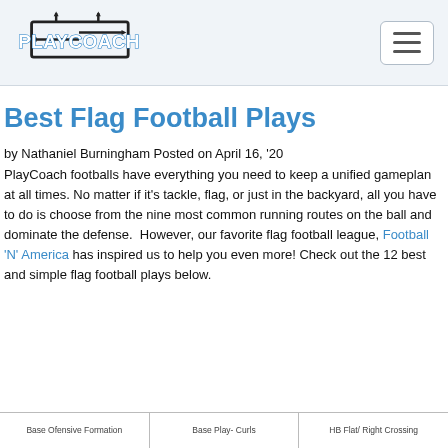PlayCoach logo and navigation
Best Flag Football Plays
by Nathaniel Burningham Posted on April 16, '20 PlayCoach footballs have everything you need to keep a unified gameplan at all times. No matter if it's tackle, flag, or just in the backyard, all you have to do is choose from the nine most common running routes on the ball and dominate the defense. However, our favorite flag football league, Football 'N' America has inspired us to help you even more! Check out the 12 best and simple flag football plays below.
| Base Ofensive Formation | Base Play- Curls | HB Flat/ Right Crossing |
| --- | --- | --- |